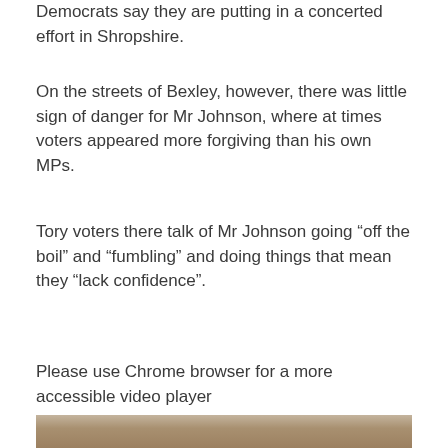Democrats say they are putting in a concerted effort in Shropshire.
On the streets of Bexley, however, there was little sign of danger for Mr Johnson, where at times voters appeared more forgiving than his own MPs.
Tory voters there talk of Mr Johnson going “off the boil” and “fumbling” and doing things that mean they “lack confidence”.
Please use Chrome browser for a more accessible video player
[Figure (photo): Partial photo showing the top portion of a person with blonde hair in an indoor setting with furniture visible in the background.]